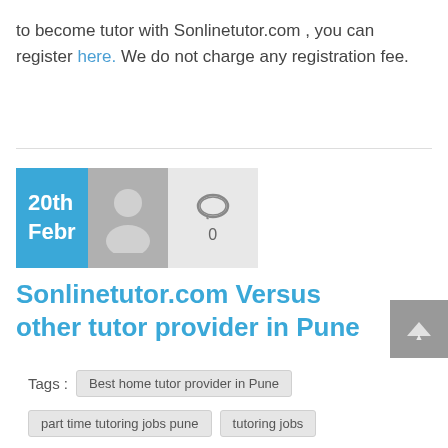to become tutor with Sonlinetutor.com , you can register here. We do not charge any registration fee.
[Figure (other): Blog post card with date badge showing 20th Febr, user avatar placeholder, and comment count of 0]
Sonlinetutor.com Versus other tutor provider in Pune
Tags : Best home tutor provider in Pune
part time tutoring jobs pune
tutoring jobs